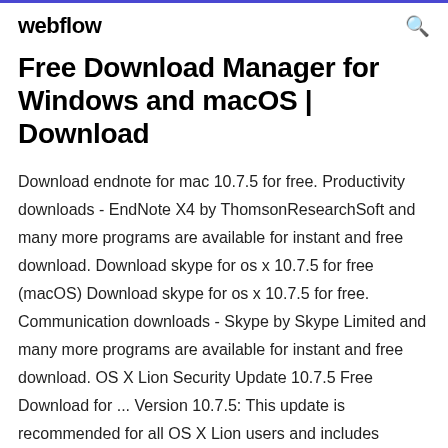webflow
Free Download Manager for Windows and macOS | Download
Download endnote for mac 10.7.5 for free. Productivity downloads - EndNote X4 by ThomsonResearchSoft and many more programs are available for instant and free download. Download skype for os x 10.7.5 for free (macOS) Download skype for os x 10.7.5 for free. Communication downloads - Skype by Skype Limited and many more programs are available for instant and free download. OS X Lion Security Update 10.7.5 Free Download for ... Version 10.7.5: This update is recommended for all OS X Lion users and includes general